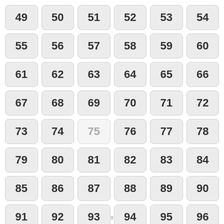49 50 51 52 53 54 55 56 57 58 59 60 61 62 63 64 65 66 67 68 69 70 71 72 73 74 75 76 77 78 79 80 81 82 83 84 85 86 87 88 89 90 91 92 93 94 95 96